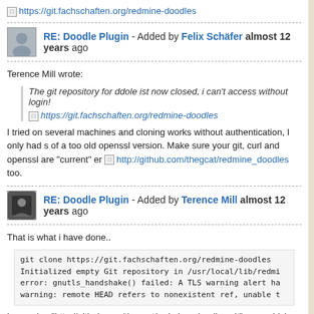https://git.fachschaften.org/redmine-doodles
RE: Doodle Plugin - Added by Felix Schäfer almost 12 years ago
Terence Mill wrote:
The git repository for ddole ist now closed, i can't access without login!
https://git.fachschaften.org/redmine-doodles
I tried on several machines and cloning works without authentication, I only had s of a too old openssl version. Make sure your git, curl and openssl are "current" er http://github.com/thegcat/redmine_doodles too.
RE: Doodle Plugin - Added by Terence Mill almost 12 years ago
That is what i have done..
git clone https://git.fachschaften.org/redmine-doodles
Initialized empty Git repository in /usr/local/lib/redmi
error: gnutls_handshake() failed: A TLS warning alert ha
warning: remote HEAD refers to nonexistent ref, unable t
I am using "http://github.com/thegcat/redmine_doodles.git" now, which works stra
1 2 3 4 Next » (1-25/87)